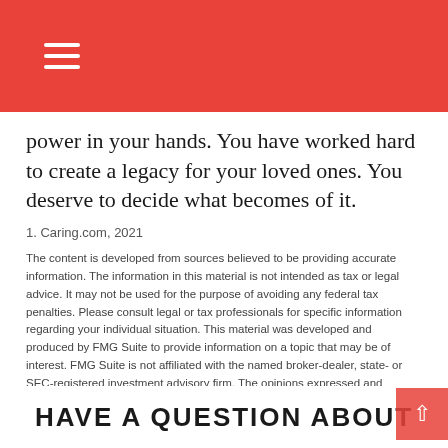Navigation menu header bar
power in your hands. You have worked hard to create a legacy for your loved ones. You deserve to decide what becomes of it.
1. Caring.com, 2021
The content is developed from sources believed to be providing accurate information. The information in this material is not intended as tax or legal advice. It may not be used for the purpose of avoiding any federal tax penalties. Please consult legal or tax professionals for specific information regarding your individual situation. This material was developed and produced by FMG Suite to provide information on a topic that may be of interest. FMG Suite is not affiliated with the named broker-dealer, state- or SEC-registered investment advisory firm. The opinions expressed and material provided are for general information, and should not be considered a solicitation for the purchase or sale of any security. Copyright 2022 FMG Suite.
Share |
HAVE A QUESTION ABOUT